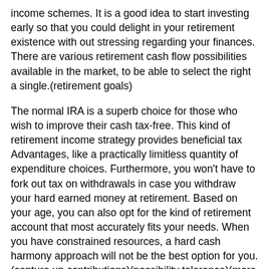income schemes. It is a good idea to start investing early so that you could delight in your retirement existence with out stressing regarding your finances. There are various retirement cash flow possibilities available in the market, to be able to select the right a single.(retirement goals)
The normal IRA is a superb choice for those who wish to improve their cash tax-free. This kind of retirement income strategy provides beneficial tax Advantages, like a practically limitless quantity of expenditure choices. Furthermore, you won't have to fork out tax on withdrawals in case you withdraw your hard earned money at retirement. Based on your age, you can also opt for the kind of retirement account that most accurately fits your needs. When you have constrained resources, a hard cash harmony approach will not be the best option for you.(capture up contributions)(possibility tolerance)(more than enough dollars)
Tax Implications